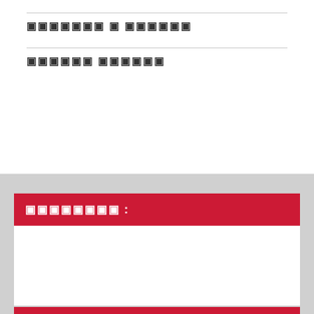▓▓▓▓▓▓▓ ▓ ▓▓▓▓▓▓
▓▓▓▓▓▓ ▓▓▓▓▓▓
▓▓▓▓▓▓▓▓
[Figure (logo): 財神 SLOT logo with casino chips and card suits in grayscale]